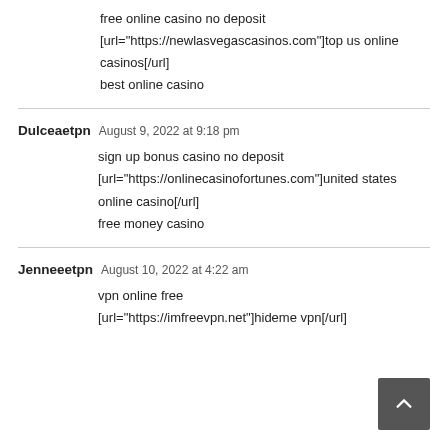free online casino no deposit
[url="https://newlasvegascasinos.com"]top us online casinos[/url]
best online casino
Dulceaetpn  August 9, 2022 at 9:18 pm
sign up bonus casino no deposit
[url="https://onlinecasinofortunes.com"]united states online casino[/url]
free money casino
Jenneeetpn  August 10, 2022 at 4:22 am
vpn online free
[url="https://imfreevpn.net"]hideme vpn[/url]